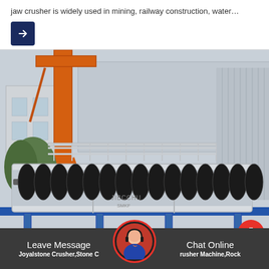jaw crusher is widely used in mining, railway construction, water…
[Figure (photo): Industrial spiral/screw washing machine or conveyor equipment on a blue steel frame, photographed outdoors with an orange crane structure visible in the background. The machine has multiple black helical screw elements inside a grey trough.]
Leave Message   Chat Online   Joyalstone Crusher,Stone Crusher Machine,Rock